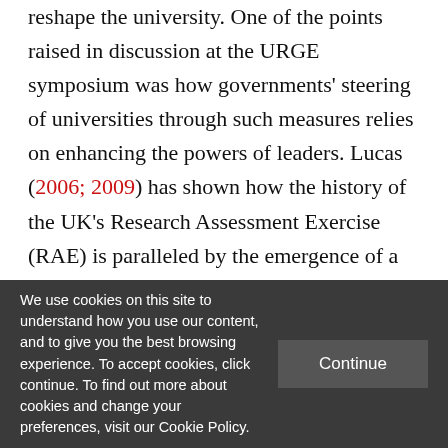reshape the university. One of the points raised in discussion at the URGE symposium was how governments' steering of universities through such measures relies on enhancing the powers of leaders. Lucas (2006; 2009) has shown how the history of the UK's Research Assessment Exercise (RAE) is paralleled by the emergence of a managerial class to control the university's performance. Robertson's case study
We use cookies on this site to understand how you use our content, and to give you the best browsing experience. To accept cookies, click continue. To find out more about cookies and change your preferences, visit our Cookie Policy.